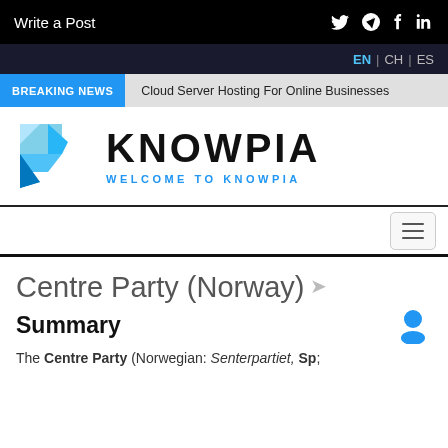Write a Post
EN | CH | ES
BREAKING NEWS  Cloud Server Hosting For Online Businesses
[Figure (logo): Knowpia blue origami-style logo icon]
KNOWPIA
WELCOME TO KNOWPIA
Centre Party (Norway) Summary
The Centre Party (Norwegian: Senterpartiet, Sp;